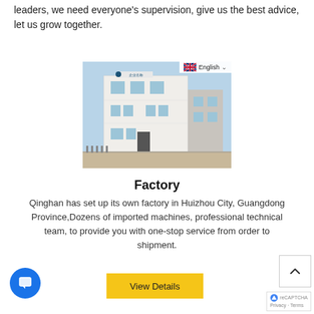leaders, we need everyone's supervision, give us the best advice, let us grow together.
[Figure (photo): Exterior photo of a white multi-story factory building in Huizhou City with a language selector overlay showing English with UK flag]
Factory
Qinghan has set up its own factory in Huizhou City, Guangdong Province,Dozens of imported machines, professional technical team, to provide you with one-stop service from order to shipment.